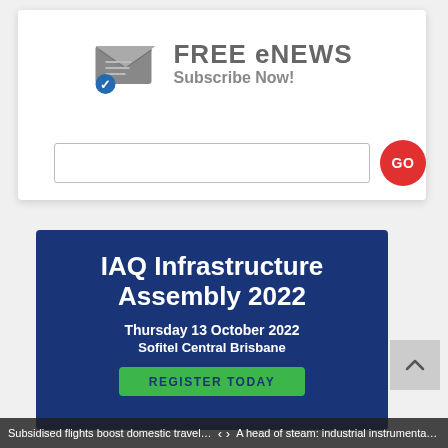[Figure (infographic): FREE eNEWS Subscribe Now! banner with envelope/mail icon, email input field, and red GO button]
[Figure (infographic): IAQ Infrastructure Assembly 2022 event banner. Thursday 13 October 2022, Sofitel Central Brisbane. Register Today green button.]
Subsidised flights boost domestic travel,... < > A head of steam: industrial instrumentati...